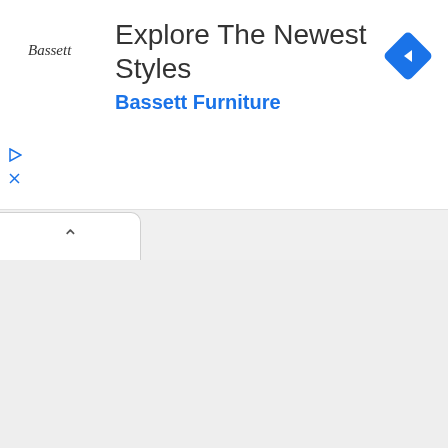[Figure (screenshot): Advertisement banner for Bassett Furniture with title 'Explore The Newest Styles', subtitle 'Bassett Furniture' in blue, Bassett logo on left, blue diamond navigation icon on right, play and close buttons, and a collapsed tab below the banner on a gray background.]